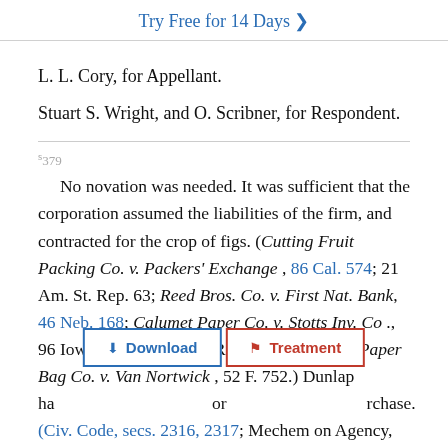Try Free for 14 Days >
L. L. Cory, for Appellant.
Stuart S. Wright, and O. Scribner, for Respondent.
*379
No novation was needed. It was sufficient that the corporation assumed the liabilities of the firm, and contracted for the crop of figs. (Cutting Fruit Packing Co. v. Packers' Exchange , 86 Cal. 574; 21 Am. St. Rep. 63; Reed Bros. Co. v. First Nat. Bank, 46 Neb. 168; Calumet Paper Co. v. Stotts Inv. Co ., 96 Iowa 147; 59 Am. St. Rep. 362; American Paper Bag Co. v. Van Nortwick , 52 F. 752.) Dunlap ha[d] or [p]urchase. (Civ. Code, secs. 2316, 2317; Mechem on Agency, secs. 84, 379, 707; Quinn v. Dressbach, 75 Cal. 159; 7 Am. St. Rep.